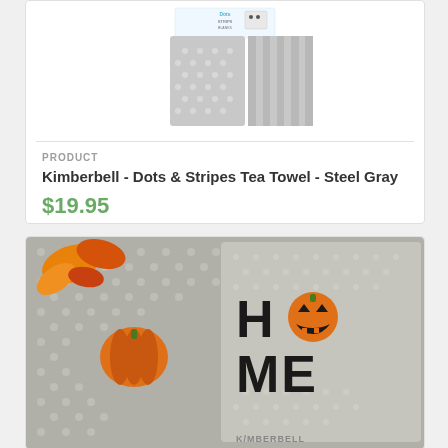[Figure (photo): Kimberbell Dots and Stripes Tea Towel Steel Gray product packaging showing two folded gray tea towels with dots and stripes patterns]
PRODUCT
Kimberbell - Dots & Stripes Tea Towel - Steel Gray
$19.95
[Figure (photo): Halloween-themed tea towel embroidered with HOME letters where O is a jack-o-lantern pumpkin, displayed on a gray polka dot background with orange autumn leaves and a small pumpkin decoration, with KIMBERBELL watermark]